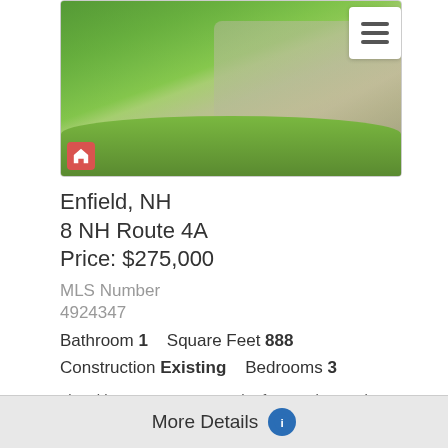[Figure (photo): Outdoor photo showing green grass lawn with a gravel/dirt driveway or path cutting diagonally across the upper right portion of the image. A small red house icon appears in the lower left corner of the photo. A white hamburger menu icon is in the upper right.]
Enfield, NH
8 NH Route 4A
Price: $275,000
MLS Number
4924347
Bathroom 1    Square Feet 888
Construction Existing    Bedrooms 3
Listed by Yarrow Farnsworth of KW Lakes and Mountains Realty/Meredith
More Details